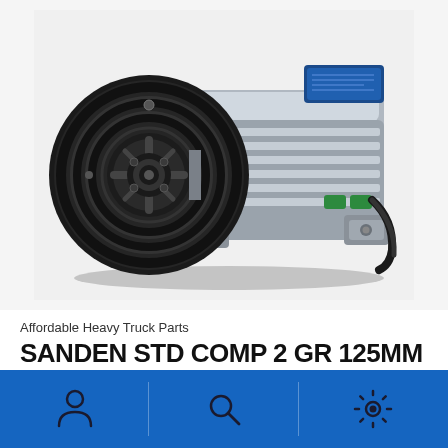[Figure (photo): AC compressor unit - Sanden STD Comp 2 GR 125MM, showing a black pulley/clutch assembly on the left and silver compressor body on the right with a blue label and green/black connector ports]
Affordable Heavy Truck Parts
SANDEN STD COMP 2 GR 125MM
$310.90  In Stock